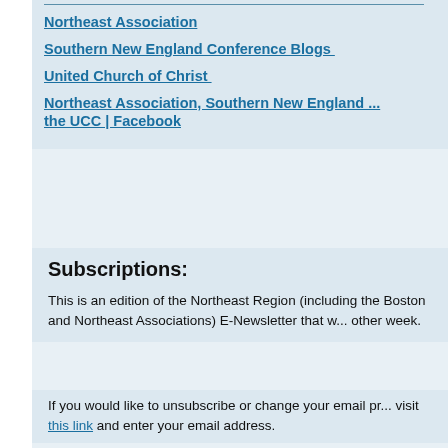Northeast Association
Southern New England Conference Blogs
United Church of Christ
Northeast Association, Southern New England ... the UCC | Facebook
Subscriptions:
This is an edition of the Northeast Region (including the Boston and Northeast Associations) E-Newsletter that w... other week.
If you would like to unsubscribe or change your email pr... visit this link and enter your email address.